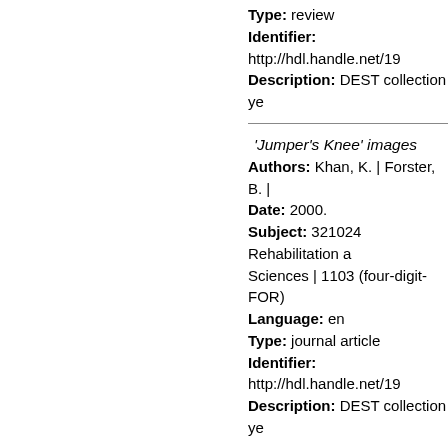Type: review
Identifier: http://hdl.handle.net/19...
Description: DEST collection ye...
'Jumper's Knee' images...
Authors: Khan, K. | Forster, B. |
Date: 2000.
Subject: 321024 Rehabilitation a... Sciences | 1103 (four-digit-FOR)
Language: en
Type: journal article
Identifier: http://hdl.handle.net/19...
Description: DEST collection ye...
'Laws' and 'Theories' in...
Authors: Christie, John Robert. |
Date: 2000.
Subject: 220200 History and Phi...
Language: en
Type: book chapter
Identifier: http://hdl.handle.net/19...
Description: DEST collection ye...